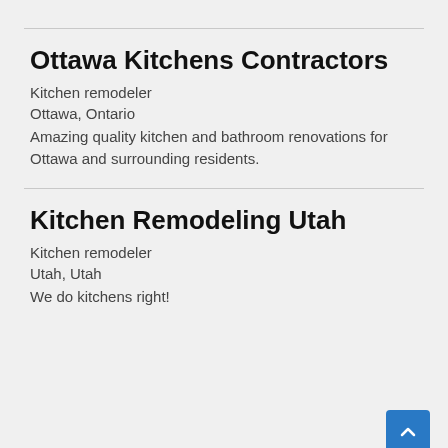Ottawa Kitchens Contractors
Kitchen remodeler
Ottawa, Ontario
Amazing quality kitchen and bathroom renovations for Ottawa and surrounding residents.
Kitchen Remodeling Utah
Kitchen remodeler
Utah, Utah
We do kitchens right!